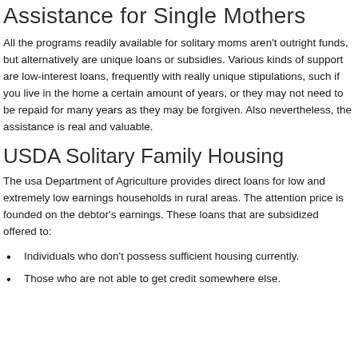Assistance for Single Mothers
All the programs readily available for solitary moms aren't outright funds, but alternatively are unique loans or subsidies. Various kinds of support are low-interest loans, frequently with really unique stipulations, such if you live in the home a certain amount of years, or they may not need to be repaid for many years as they may be forgiven. Also nevertheless, the assistance is real and valuable.
USDA Solitary Family Housing
The usa Department of Agriculture provides direct loans for low and extremely low earnings households in rural areas. The attention price is founded on the debtor's earnings. These loans that are subsidized offered to:
Individuals who don't possess sufficient housing currently.
Those who are not able to get credit somewhere else.